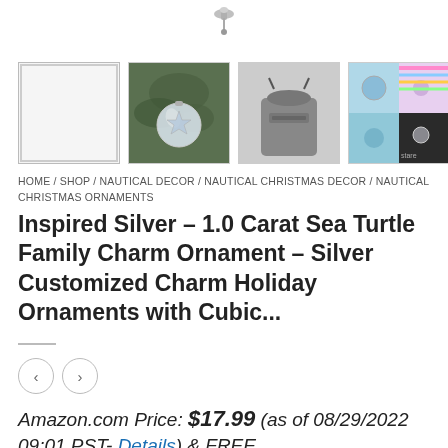[Figure (photo): Top portion of a silver ornament/charm hook against white background]
[Figure (photo): Row of four product thumbnail images: empty white box, ornament on tree, grey drawstring bag, colorful charm collage]
HOME / SHOP / NAUTICAL DECOR / NAUTICAL CHRISTMAS DECOR / NAUTICAL CHRISTMAS ORNAMENTS
Inspired Silver – 1.0 Carat Sea Turtle Family Charm Ornament – Silver Customized Charm Holiday Ornaments with Cubic...
[Figure (other): Navigation left and right arrow buttons (circular)]
Amazon.com Price: $17.99 (as of 08/29/2022 09:01 PST- Details) & FREE